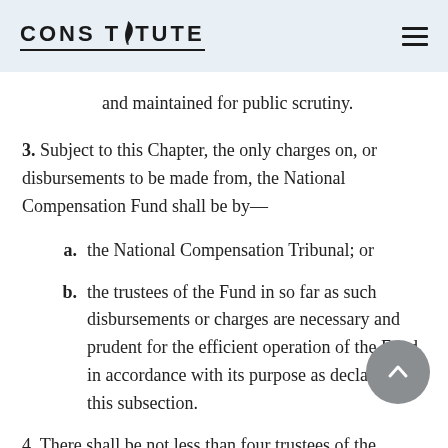CONSTITUTE
and maintained for public scrutiny.
3. Subject to this Chapter, the only charges on, or disbursements to be made from, the National Compensation Fund shall be by—
a. the National Compensation Tribunal; or
b. the trustees of the Fund in so far as such disbursements or charges are necessary and prudent for the efficient operation of the Fund in accordance with its purpose as declared in this subsection.
4. There shall be not less than four trustees of the National Compensation Fund who shall be appointed from time to time by the Public Appointments…